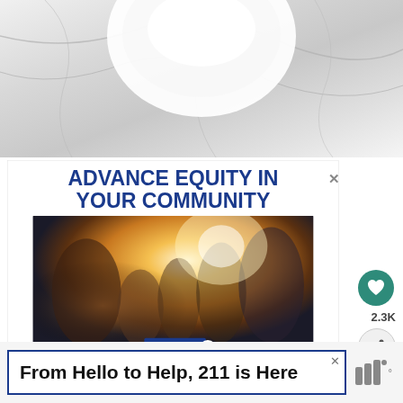[Figure (photo): Top portion of a white marble bowl or plate against a marble surface background]
[Figure (infographic): United Way advertisement with bold blue headline 'ADVANCE EQUITY IN YOUR COMMUNITY' above a photo of a smiling diverse family, with United Way logo]
WHAT'S NEXT → Orange Scones
2.3K
From Hello to Help, 211 is Here